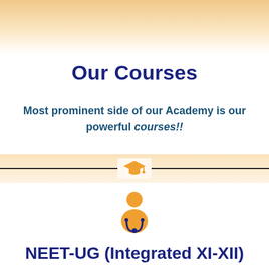Our Courses
Most prominent side of our Academy is our powerful courses!!
[Figure (illustration): Graduation cap icon in orange color centered on a horizontal divider line with warm gradient background]
[Figure (illustration): Doctor/medical professional icon in orange color showing a person with stethoscope]
NEET-UG (Integrated XI-XII)